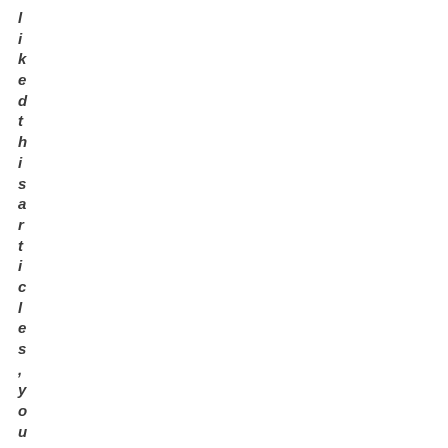l i k e d t h i s a r t i c l e s , y o u m i g h t w a